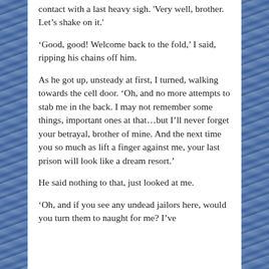contact with a last heavy sigh. 'Very well, brother. Let's shake on it.'
'Good, good! Welcome back to the fold,' I said, ripping his chains off him.
As he got up, unsteady at first, I turned, walking towards the cell door. 'Oh, and no more attempts to stab me in the back. I may not remember some things, important ones at that…but I'll never forget your betrayal, brother of mine. And the next time you so much as lift a finger against me, your last prison will look like a dream resort.'
He said nothing to that, just looked at me.
'Oh, and if you see any undead jailors here, would you turn them to naught for me? I've